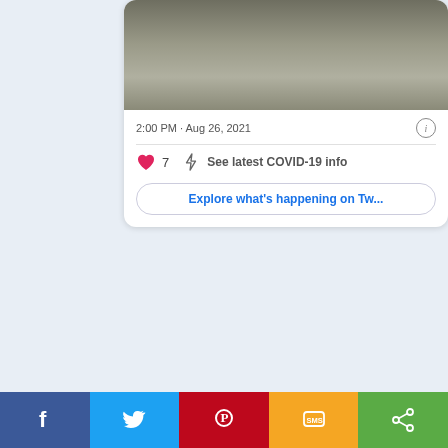[Figure (screenshot): Screenshot of a Twitter/social media card showing a photo of a road/tarmac surface, timestamp '2:00 PM · Aug 26, 2021', a heart icon with count 7, a COVID-19 info link, and an 'Explore what's happening on Tw...' button. Below the card is a social sharing bar with Facebook, Twitter, Pinterest, SMS, and Share buttons.]